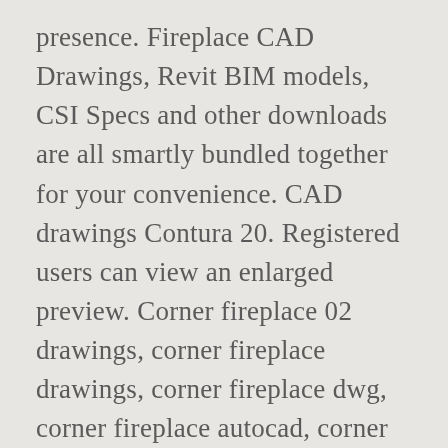presence. Fireplace CAD Drawings, Revit BIM models, CSI Specs and other downloads are all smartly bundled together for your convenience. CAD drawings Contura 20. Registered users can view an enlarged preview. Corner fireplace 02 drawings, corner fireplace drawings, corner fireplace dwg, corner fireplace autocad, corner fireplace cad block, corner fireplace CAD block Queen Anne style chair DWG 2d blocks – .. Mar 5, 2019. You must have JavaScript enabled in your browser to utilize the functionality of this website. So you can open them in whatever version of CAD software you have. The fireplace that started it all, our TC42 is Town & Country's flagship hearth, the first to Introduce the clean-face